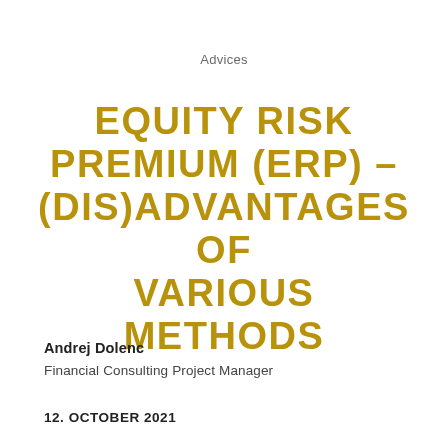Advices
EQUITY RISK PREMIUM (ERP) – (DIS)ADVANTAGES OF VARIOUS METHODS
Andrej Dolenc
Financial Consulting Project Manager
12. OCTOBER 2021